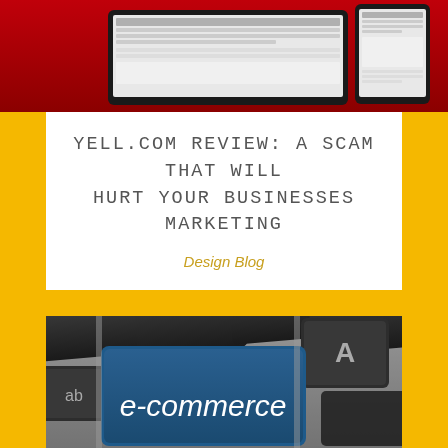[Figure (photo): Top portion of a website or app screenshot shown on tablet and phone devices against a red background. Partial view, cropped at top of page.]
YELL.COM REVIEW: A SCAM THAT WILL HURT YOUR BUSINESSES MARKETING
Design Blog
[Figure (photo): Close-up photograph of a keyboard with a blue key labeled 'e-commerce', dark grey keys including one with letter 'A', and partial 'ab' key visible on the left. The image is cropped at the bottom.]